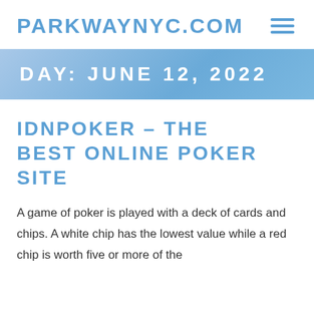PARKWAYNYC.COM
DAY: JUNE 12, 2022
IDNPOKER – THE BEST ONLINE POKER SITE
A game of poker is played with a deck of cards and chips. A white chip has the lowest value while a red chip is worth five or more of the